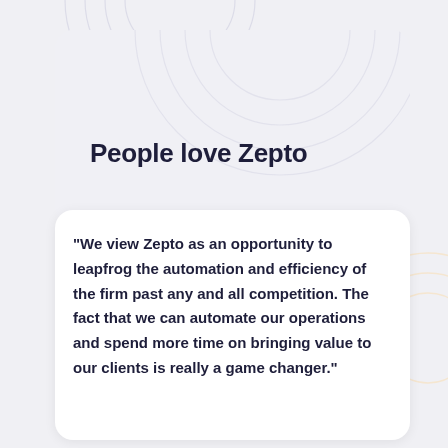People love Zepto
"We view Zepto as an opportunity to leapfrog the automation and efficiency of the firm past any and all competition. The fact that we can automate our operations and spend more time on bringing value to our clients is really a game changer."